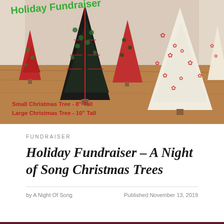[Figure (photo): Decorative fabric Christmas trees of various sizes and patterns (red, black with green, cream with red stars) arranged on a wooden surface. Text overlay at top left in green reads 'Holiday Fundraiser'. Text at bottom left in red reads 'Small Christmas Tree - 8" Tall' and 'Large Christmas Tree - 10" Tall'.]
FUNDRAISER
Holiday Fundraiser - A Night of Song Christmas Trees
by A Night Of Song
Published November 13, 2019